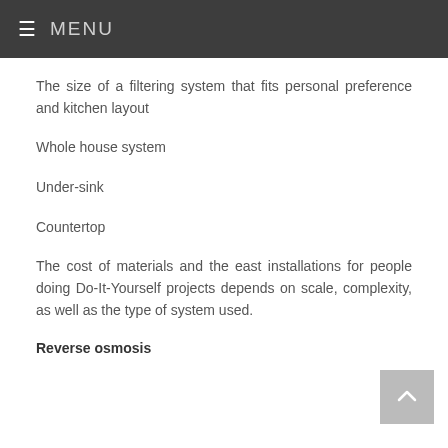≡ MENU
The size of a filtering system that fits personal preference and kitchen layout
Whole house system
Under-sink
Countertop
The cost of materials and the east installations for people doing Do-It-Yourself projects depends on scale, complexity, as well as the type of system used.
Reverse osmosis